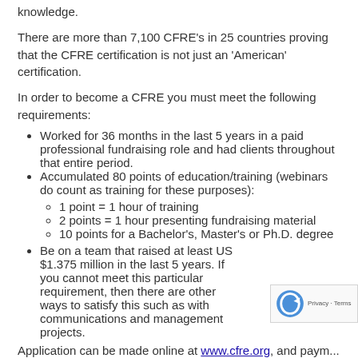knowledge.
There are more than 7,100 CFRE’s in 25 countries proving that the CFRE certification is not just an ‘American’ certification.
In order to become a CFRE you must meet the following requirements:
Worked for 36 months in the last 5 years in a paid professional fundraising role and had clients throughout that entire period.
Accumulated 80 points of education/training (webinars do count as training for these purposes):
1 point = 1 hour of training
2 points = 1 hour presenting fundraising material
10 points for a Bachelor’s, Master’s or Ph.D. degree
Be on a team that raised at least US $1.375 million in the last 5 years. If you cannot meet this particular requirement, then there are other ways to satisfy this such as with communications and management projects.
Application can be made online at www.cfre.org, and paym... only taken when your application is submitted. The regular cost is